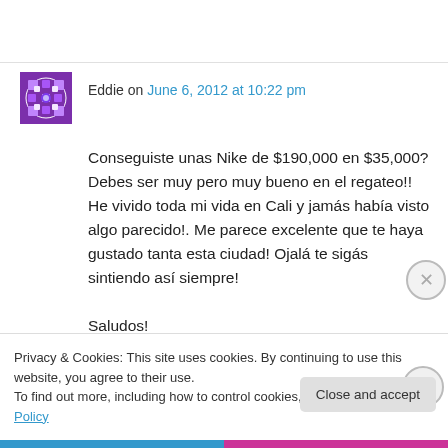Eddie on June 6, 2012 at 10:22 pm
Conseguiste unas Nike de $190,000 en $35,000? Debes ser muy pero muy bueno en el regateo!! He vivido toda mi vida en Cali y jamás había visto algo parecido!. Me parece excelente que te haya gustado tanta esta ciudad! Ojalá te sigás sintiendo así siempre!

Saludos!
Privacy & Cookies: This site uses cookies. By continuing to use this website, you agree to their use.
To find out more, including how to control cookies, see here: Cookie Policy